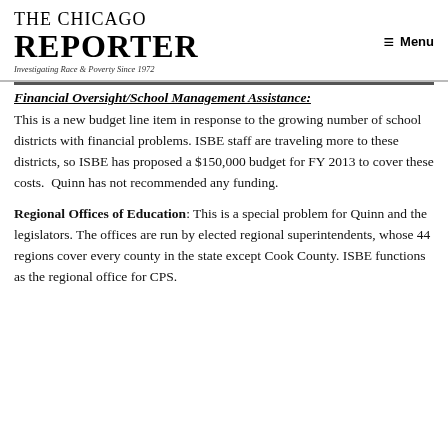THE CHICAGO REPORTER — Investigating Race & Poverty Since 1972 | Menu
Financial Oversight/School Management Assistance:
This is a new budget line item in response to the growing number of school districts with financial problems. ISBE staff are traveling more to these districts, so ISBE has proposed a $150,000 budget for FY 2013 to cover these costs.  Quinn has not recommended any funding.
Regional Offices of Education: This is a special problem for Quinn and the legislators. The offices are run by elected regional superintendents, whose 44 regions cover every county in the state except Cook County. ISBE functions as the regional office for CPS.